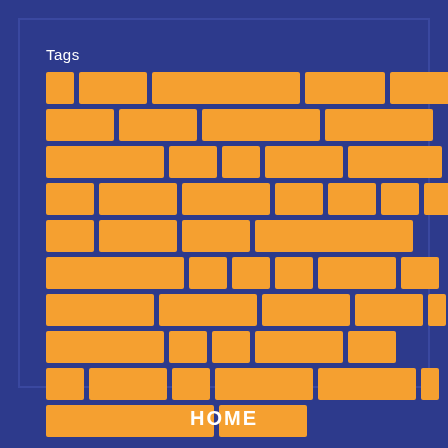Tags
[Figure (infographic): A tag cloud or brick-wall style layout of orange rectangular blocks (tags) arranged in rows on a dark blue background.]
HOME